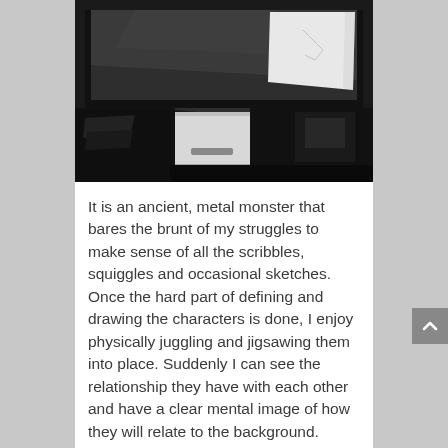[Figure (photo): A dark photo of a tilted drawing table or light box with a sheet of paper on the upper right corner, and a small white box/drawer unit beneath it, on a dark surface.]
It is an ancient, metal monster that bares the brunt of my struggles to make sense of all the scribbles, squiggles and occasional sketches. Once the hard part of defining and drawing the characters is done, I enjoy physically juggling and jigsawing them into place. Suddenly I can see the relationship they have with each other and have a clear mental image of how they will relate to the background.